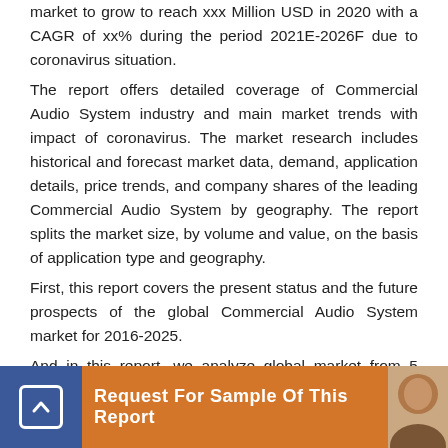market to grow to reach xxx Million USD in 2020 with a CAGR of xx% during the period 2021E-2026F due to coronavirus situation.
The report offers detailed coverage of Commercial Audio System industry and main market trends with impact of coronavirus. The market research includes historical and forecast market data, demand, application details, price trends, and company shares of the leading Commercial Audio System by geography. The report splits the market size, by volume and value, on the basis of application type and geography.
First, this report covers the present status and the future prospects of the global Commercial Audio System market for 2016-2025.
And in this report, we analyze global market from 5 geographies: Asia-Pacific[China, Southeast Asia, India, Japan, Korea, Western Asia], Europe[Germany, UK, France, Italy, Russia, Spain, Netherlands, Turkey, ...s, Canada, Mexico], Middle East & Africa[GCC, North Africa, South Africa], South America[...]
[Figure (infographic): Orange banner with blue button on left showing upward arrow icon, text 'Request For Sample Of This Report', and a small avatar photo on the right.]